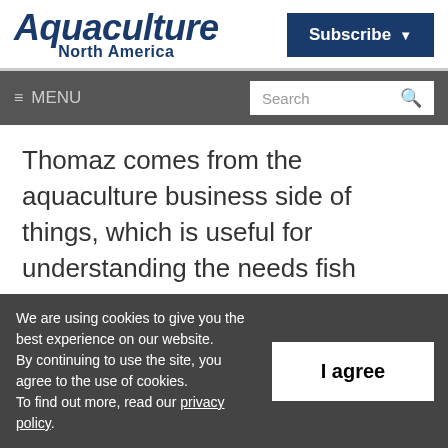Aquaculture North America
Subscribe
≡ MENU   Search
Thomaz comes from the aquaculture business side of things, which is useful for understanding the needs fish farmers have when it comes to controlling business information flow, but has its limits when
We are using cookies to give you the best experience on our website. By continuing to use the site, you agree to the use of cookies. To find out more, read our privacy policy.
I agree